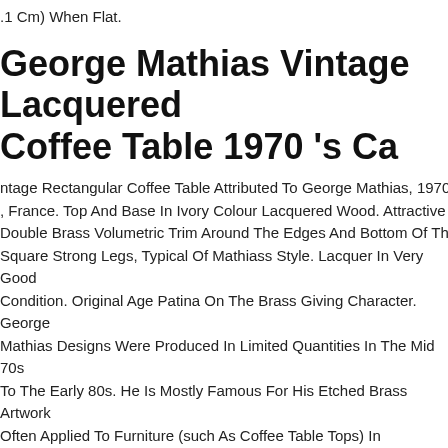.1 Cm) When Flat.
George Mathias Vintage Lacquered Coffee Table 1970 's Ca
ntage Rectangular Coffee Table Attributed To George Mathias, 1970s, France. Top And Base In Ivory Colour Lacquered Wood. Attractive Double Brass Volumetric Trim Around The Edges And Bottom Of The Square Strong Legs, Typical Of Mathiass Style. Lacquer In Very Good Condition. Original Age Patina On The Brass Giving Character. George Mathias Designs Were Produced In Limited Quantities In The Mid 70s To The Early 80s. He Is Mostly Famous For His Etched Brass Artwork Often Applied To Furniture (such As Coffee Table Tops) In Collaboration With Artist Roger Vanhebel
Mid 19th Century Scandinavian Burr Elm Center Table